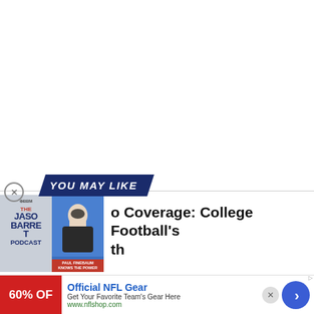[Figure (infographic): White empty area at top of page (above the recommendation widget)]
YOU MAY LIKE
[Figure (infographic): Article recommendation card showing 'The Jason Barrett Podcast' image on left with Paul Finebaum photo, and article headline 'o Coverage: College Football's th' on right]
[Figure (infographic): Advertisement banner: Official NFL Gear — Get Your Favorite Team's Gear Here — www.nflshop.com — showing 60% OFF and a red background on the left thumbnail, with a blue arrow button on the right]